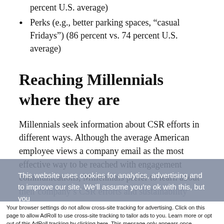percent U.S. average)
Perks (e.g., better parking spaces, “casual Fridays”) (86 percent vs. 74 percent U.S. average)
Reaching Millennials where they are
Millennials seek information about CSR efforts in different ways. Although the average American employee views a company email as the most effective way to be reached with engagement communications, Millennials prefer to learn about their company’s CSR efforts and sustainability activities through...
This website uses cookies for analytics, advertising and to improve our site. We’ll assume you’re ok with this, but you
Accept and Close ×
Your browser settings do not allow cross-site tracking for advertising. Click on this page to allow AdRoll to use cross-site tracking to tailor ads to you. Learn more or opt out of this AdRoll tracking by clicking here. This message only appears once.